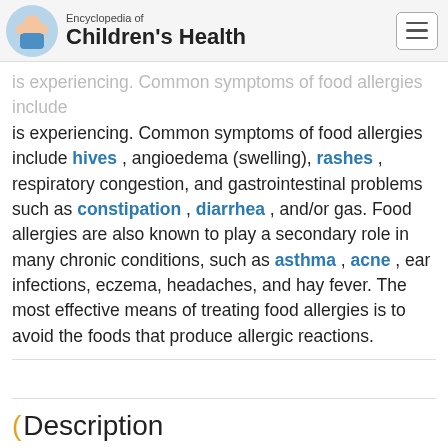Encyclopedia of Children's Health
is experiencing. Common symptoms of food allergies include hives , angioedema (swelling), rashes , respiratory congestion, and gastrointestinal problems such as constipation , diarrhea , and/or gas. Food allergies are also known to play a secondary role in many chronic conditions, such as asthma , acne , ear infections, eczema, headaches, and hay fever. The most effective means of treating food allergies is to avoid the foods that produce allergic reactions.
Description
There are two main ways of diagnosing food allergies by the elimination method. A casual approach involves eliminating, one at a time, foods from the diet suspected of causing